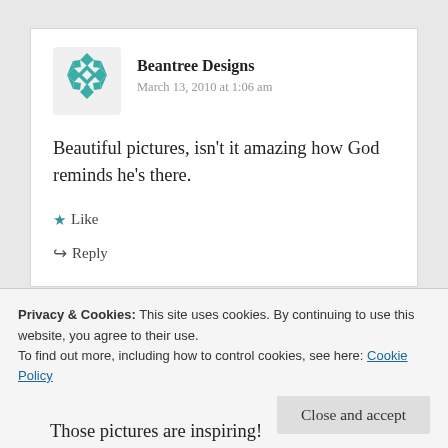[Figure (logo): Teal/turquoise decorative geometric flower/mandala avatar icon for Beantree Designs]
Beantree Designs
March 13, 2010 at 1:06 am
Beautiful pictures, isn't it amazing how God reminds he's there.
★ Like
↪ Reply
Privacy & Cookies: This site uses cookies. By continuing to use this website, you agree to their use.
To find out more, including how to control cookies, see here: Cookie Policy
Close and accept
Those pictures are inspiring!